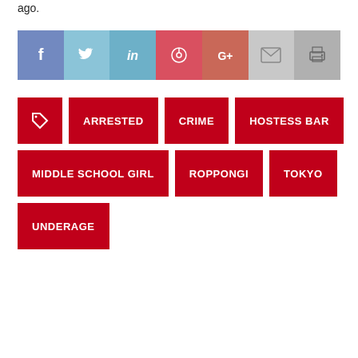ago.
[Figure (infographic): Social share bar with icons: Facebook (blue), Twitter (light blue), LinkedIn (teal), Pinterest (red-pink), Google+ (red-orange), Email (light grey), Print (grey)]
ARRESTED
CRIME
HOSTESS BAR
MIDDLE SCHOOL GIRL
ROPPONGI
TOKYO
UNDERAGE